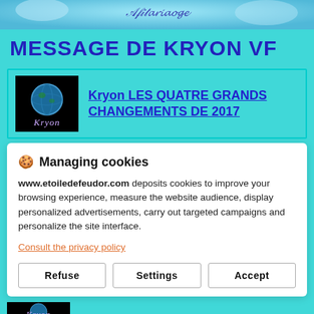[Figure (photo): Website header banner with decorative script text and blue gradient background]
MESSAGE DE KRYON VF
[Figure (photo): Kryon thumbnail image showing Earth globe on black background with Kryon branding, linked to article: Kryon LES QUATRE GRANDS CHANGEMENTS DE 2017]
🍪 Managing cookies
www.etoiledefeudor.com deposits cookies to improve your browsing experience, measure the website audience, display personalized advertisements, carry out targeted campaigns and personalize the site interface.
Consult the privacy policy
Refuse | Settings | Accept
[Figure (photo): Kryon thumbnail image at bottom, black background with purple Kryon text]